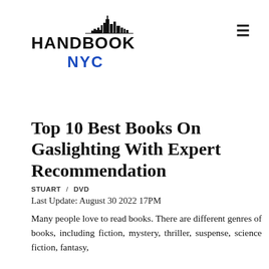[Figure (logo): Handbook NYC logo with skyline silhouette above HANDBOOK text and NYC in blue below]
Top 10 Best Books On Gaslighting With Expert Recommendation
STUART / DVD
Last Update: August 30 2022 17PM
Many people love to read books. There are different genres of books, including fiction, mystery, thriller, suspense, science fiction, fantasy,